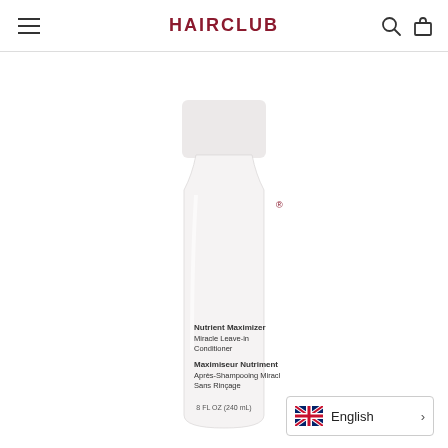HAIRCLUB
[Figure (photo): White cylindrical bottle of maxxam Nutrient Maximizer Miracle Leave-in Conditioner / Maximiseur Nutriment Après-Shampooing Miracle Sans Rinçage, 8 FL OZ (240 mL). The bottle has a white pump/cap top and displays the brand name 'maxxam' vertically in dark red/maroon letters on its front.]
English